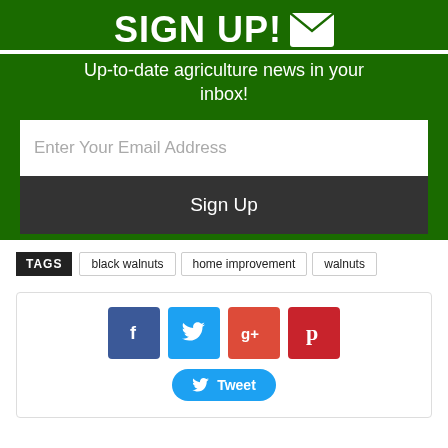SIGN UP!
Up-to-date agriculture news in your inbox!
Enter Your Email Address
Sign Up
TAGS  black walnuts  home improvement  walnuts
[Figure (infographic): Social sharing buttons: Facebook (blue), Twitter (light blue), Google+ (red-orange), Pinterest (dark red), and a Tweet button in blue]